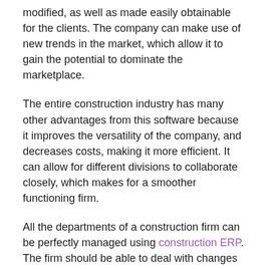modified, as well as made easily obtainable for the clients. The company can make use of new trends in the market, which allow it to gain the potential to dominate the marketplace.
The entire construction industry has many other advantages from this software because it improves the versatility of the company, and decreases costs, making it more efficient. It can allow for different divisions to collaborate closely, which makes for a smoother functioning firm.
All the departments of a construction firm can be perfectly managed using construction ERP. The firm should be able to deal with changes at any point in their process, and this software helps them achieve this level of efficiency. Thus, ERP software has considerable